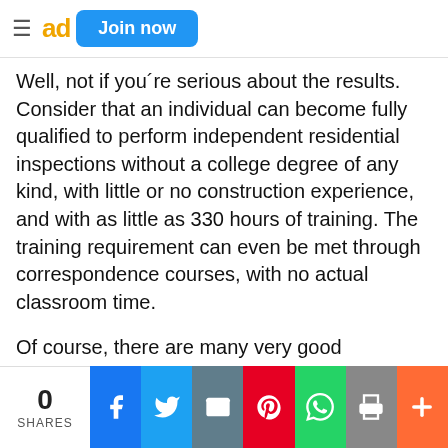ad  Join now
Well, not if you´re serious about the results. Consider that an individual can become fully qualified to perform independent residential inspections without a college degree of any kind, with little or no construction experience, and with as little as 330 hours of training. The training requirement can even be met through correspondence courses, with no actual classroom time.
Of course, there are many very good inspectors out there-inspectors who are
0 SHARES  [Facebook] [Twitter] [Email] [Pinterest] [WhatsApp] [Print] [More]